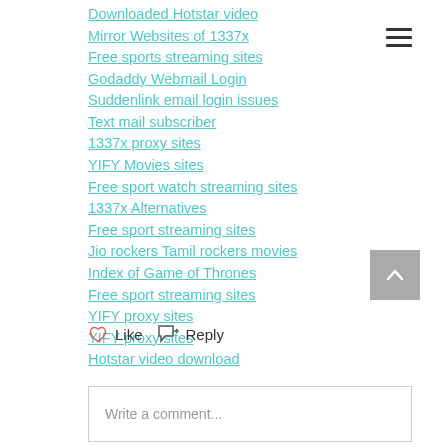Downloaded Hotstar video
Mirror Websites of 1337x
Free sports streaming sites
Godaddy Webmail Login
Suddenlink email login issues
Text mail subscriber
1337x proxy sites
YIFY Movies sites
Free sport watch streaming sites
1337x Alternatives
Free sport streaming sites
Jio rockers Tamil rockers movies
Index of Game of Thrones
Free sport streaming sites
YIFY proxy sites
YIFY proxy sites
Hotstar video download
Like   Reply
Write a comment...